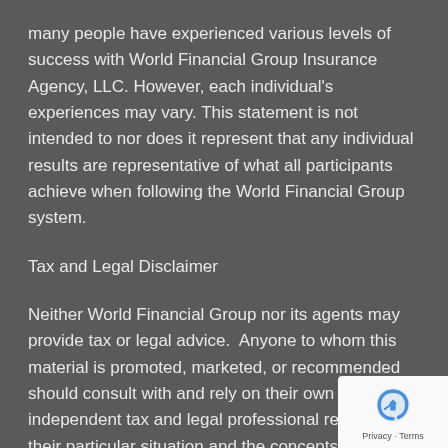many people have experienced various levels of success with World Financial Group Insurance Agency, LLC. However, each individual's experiences may vary. This statement is not intended to nor does it represent that any individual results are representative of what all participants achieve when following the World Financial Group system.
Tax and Legal Disclaimer
Neither World Financial Group nor its agents may provide tax or legal advice. Anyone to whom this material is promoted, marketed, or recommended should consult with and rely on their own independent tax and legal professional regarding their particular situation and the concepts presented herein.